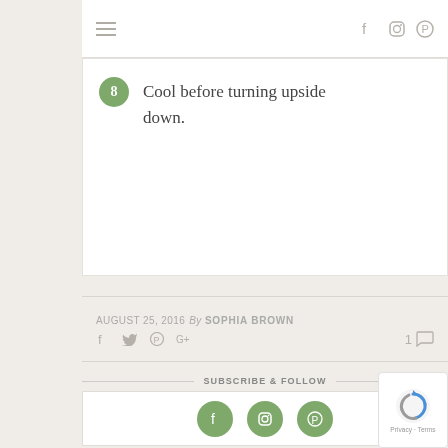Navigation bar with hamburger menu and social icons (Facebook, Instagram, Pinterest)
8. Cool before turning upside down.
AUGUST 25, 2016  By SOPHIA BROWN
Social sharing icons: Facebook, Twitter, Pinterest, Google+  |  1 comment
SUBSCRIBE & FOLLOW
[Figure (infographic): Three green circular social media icons: Facebook, Instagram, Pinterest]